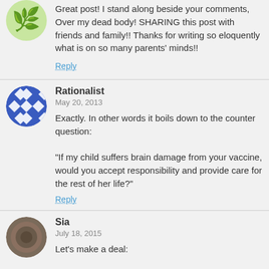Great post! I stand along beside your comments, Over my dead body! SHARING this post with friends and family!! Thanks for writing so eloquently what is on so many parents' minds!!
Reply
Rationalist
May 20, 2013
Exactly. In other words it boils down to the counter question:

"If my child suffers brain damage from your vaccine, would you accept responsibility and provide care for the rest of her life?"
Reply
Sia
July 18, 2015
Let's make a deal:

"If children suffer brain damage from a vaccine (proven, there's a reason we need science) I will accept responsibility and provide care for the rest